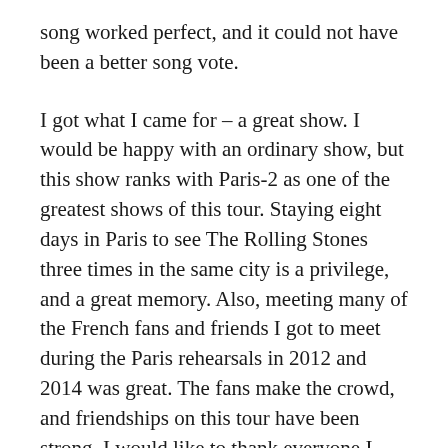song worked perfect, and it could not have been a better song vote.
I got what I came for – a great show. I would be happy with an ordinary show, but this show ranks with Paris-2 as one of the greatest shows of this tour. Staying eight days in Paris to see The Rolling Stones three times in the same city is a privilege, and a great memory. Also, meeting many of the French fans and friends I got to meet during the Paris rehearsals in 2012 and 2014 was great. The fans make the crowd, and friendships on this tour have been strong. I would like to thank everyone I met for all the great moments. See you again in Stonesland next year!